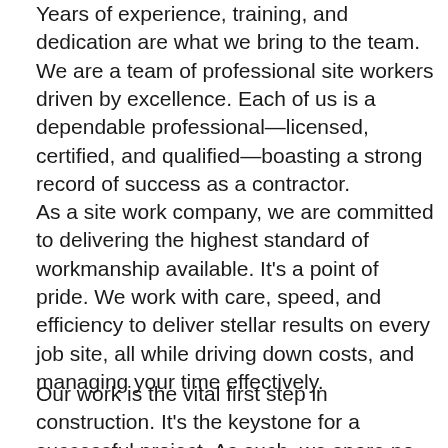Years of experience, training, and dedication are what we bring to the team. We are a team of professional site workers driven by excellence. Each of us is a dependable professional—licensed, certified, and qualified—boasting a strong record of success as a contractor.
As a site work company, we are committed to delivering the highest standard of workmanship available. It's a point of pride. We work with care, speed, and efficiency to deliver stellar results on every job site, all while driving down costs, and managing your time effectively.
Our work is the vital first step in construction. It's the keystone for a successful project. As such, we spare no expense in ensuring the quality of our work meets all industry expectations. We use rigorous quality control procedures to ensure it, always double-checking our work to make sure it is up to the high standards for which we're